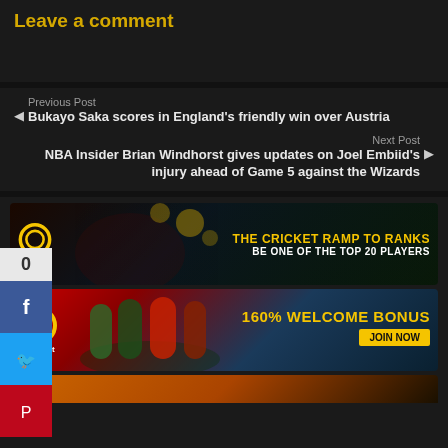Leave a comment
Previous Post
◄ Bukayo Saka scores in England's friendly win over Austria
Next Post
NBA Insider Brian Windhorst gives updates on Joel Embiid's injury ahead of Game 5 against the Wizards ►
[Figure (infographic): Dafabet advertisement: THE CRICKET RAMP TO RANKS - BE ONE OF THE TOP 20 PLAYERS. Shows cricket players and gold coins with Dafabet logo.]
[Figure (infographic): Dafabet advertisement: 160% WELCOME BONUS - JOIN NOW. Shows football players with Dafabet logo.]
[Figure (infographic): Dafabet advertisement banner (partially visible at bottom).]